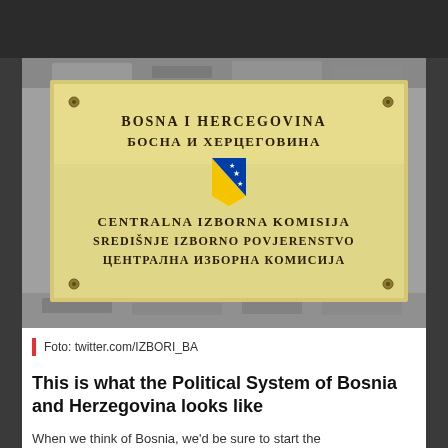[Figure (photo): A brass/gold plaque on a stone wall showing the name of the Central Election Commission of Bosnia and Herzegovina in three scripts: Latin (Bosnian/Croatian), Cyrillic (Serbian), with the coat of arms of Bosnia and Herzegovina in the center.]
Foto: twitter.com/IZBORI_BA
This is what the Political System of Bosnia and Herzegovina looks like
When we think of Bosnia, we'd be sure to start the...